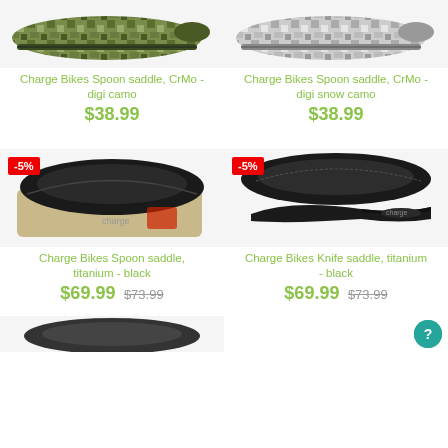[Figure (photo): Charge Bikes Spoon saddle in digi camo pattern, side view]
[Figure (photo): Charge Bikes Spoon saddle in digi snow camo pattern, side view]
Charge Bikes Spoon saddle, CrMo - digi camo
$38.99
Charge Bikes Spoon saddle, CrMo - digi snow camo
$38.99
[Figure (photo): Charge Bikes Spoon saddle titanium black, top/side view with -5% badge]
[Figure (photo): Charge Bikes Knife saddle titanium black, two angles shown with -5% badge]
Charge Bikes Spoon saddle, titanium - black
$69.99  $73.99
Charge Bikes Knife saddle, titanium - black
$69.99  $73.99
[Figure (photo): Partial view of another saddle at bottom of page]
[Figure (other): Help button circle icon bottom right]